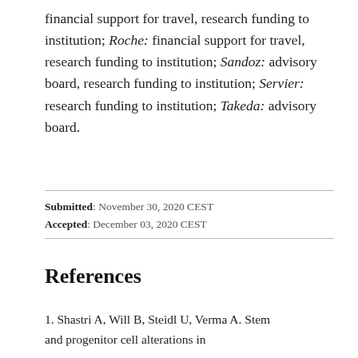financial support for travel, research funding to institution; Roche: financial support for travel, research funding to institution; Sandoz: advisory board, research funding to institution; Servier: research funding to institution; Takeda: advisory board.
Submitted: November 30, 2020 CEST
Accepted: December 03, 2020 CEST
References
1. Shastri A, Will B, Steidl U, Verma A. Stem and progenitor cell alterations in